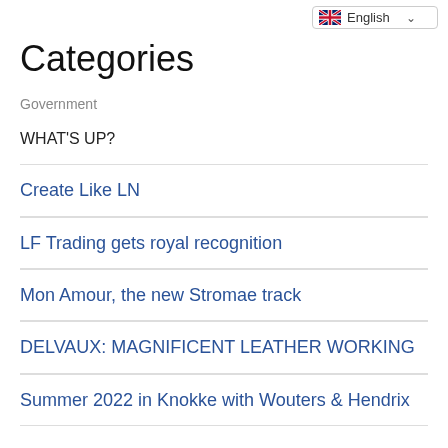English
Categories
Government
WHAT'S UP?
Create Like LN
LF Trading gets royal recognition
Mon Amour, the new Stromae track
DELVAUX: MAGNIFICENT LEATHER WORKING
Summer 2022 in Knokke with Wouters & Hendrix